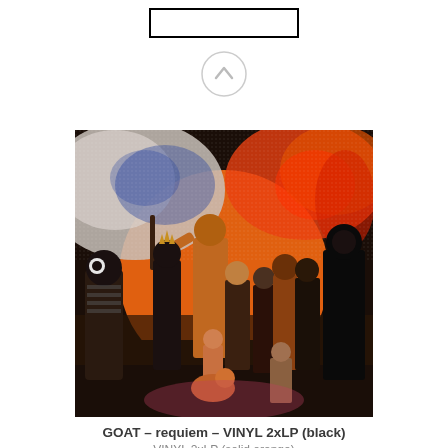[Figure (screenshot): Top UI elements: a rectangular button outline and a circular back/up navigation button]
[Figure (photo): Album cover art for GOAT - requiem. Group of costumed figures standing in front of a large orange circle/arch against a background with swirls of orange, red, white, and blue paint or powder. The figures wear elaborate ritualistic masks and costumes.]
GOAT – requiem – VINYL 2xLP (black)
VINYL 2xLP (solid orange)